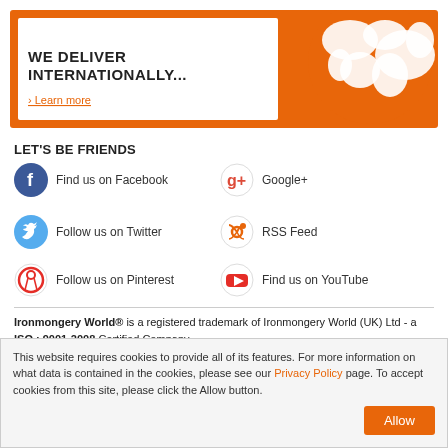[Figure (infographic): Orange banner with white inner box containing bold text 'WE DELIVER INTERNATIONALLY...' and 'Learn more' link, with a white globe illustration on the right on orange background]
LET'S BE FRIENDS
Find us on Facebook
Google+
Follow us on Twitter
RSS Feed
Follow us on Pinterest
Find us on YouTube
Ironmongery World® is a registered trademark of Ironmongery World (UK) Ltd - a ISO : 9001-2008 Certified Company
This website requires cookies to provide all of its features. For more information on what data is contained in the cookies, please see our Privacy Policy page. To accept cookies from this site, please click the Allow button.